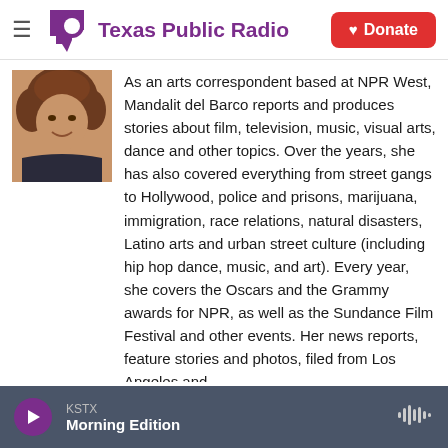[Figure (logo): Texas Public Radio logo with purple Texas shape and speech bubble icon, purple text 'Texas Public Radio', hamburger menu icon on left, red Donate button on right]
[Figure (photo): Headshot of a woman with curly brown hair, smiling, wearing a dark top]
As an arts correspondent based at NPR West, Mandalit del Barco reports and produces stories about film, television, music, visual arts, dance and other topics. Over the years, she has also covered everything from street gangs to Hollywood, police and prisons, marijuana, immigration, race relations, natural disasters, Latino arts and urban street culture (including hip hop dance, music, and art). Every year, she covers the Oscars and the Grammy awards for NPR, as well as the Sundance Film Festival and other events. Her news reports, feature stories and photos, filed from Los Angeles and
KSTX
Morning Edition